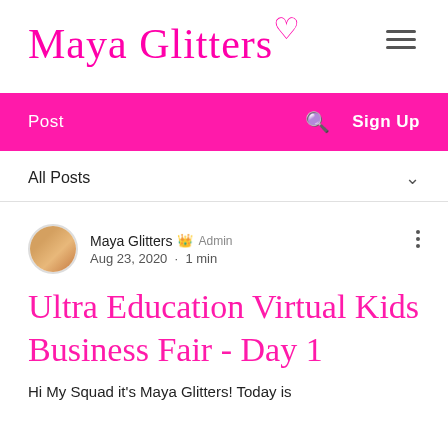Maya Glitters♡
[Figure (illustration): Hamburger menu icon (three horizontal lines)]
[Figure (screenshot): Pink navigation bar with Post, search icon, and Sign Up]
All Posts ∨
[Figure (photo): Circular avatar photo of blog author Maya Glitters]
Maya Glitters 👑 Admin
Aug 23, 2020 · 1 min
Ultra Education Virtual Kids Business Fair - Day 1
Hi My Squad it's Maya Glitters! Today is